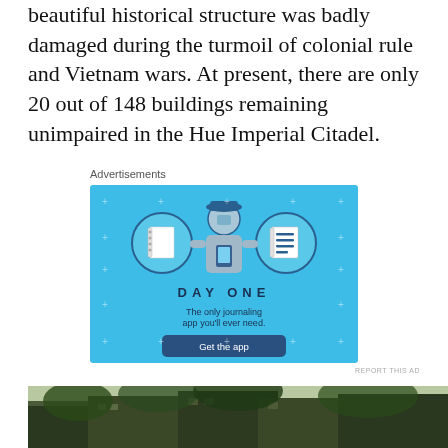beautiful historical structure was badly damaged during the turmoil of colonial rule and Vietnam wars. At present, there are only 20 out of 148 buildings remaining unimpaired in the Hue Imperial Citadel.
Advertisements
[Figure (illustration): Day One journaling app advertisement on blue background. Features illustrations of a person holding a phone with two circular icons showing a notebook and a document list. Text reads 'DAY ONE - The only journaling app you'll ever need.' with a dark blue 'Get the app' button.]
REPORT THIS AD
[Figure (photo): Partial photo at bottom of page showing an old building with overgrown vegetation, appears to be a deteriorated historical structure.]